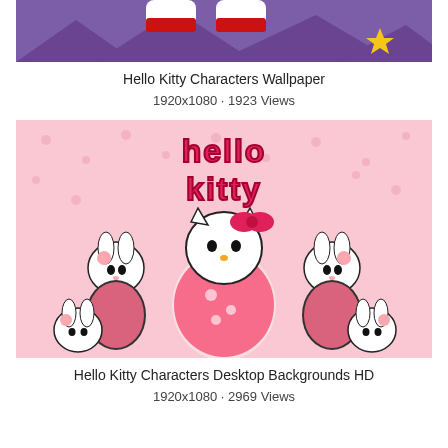[Figure (photo): Cropped top portion of Hello Kitty Characters Wallpaper showing purple/violet background with Hello Kitty feet visible at top and a yellow star]
Hello Kitty Characters Wallpaper
1920x1080 · 1923 Views
[Figure (photo): Hello Kitty in pink floral kimono surrounded by white bunny characters in kimonos with sakura flowers, pink background with snowflake patterns, Hello Kitty logo text at top]
Hello Kitty Characters Desktop Backgrounds HD
1920x1080 · 2969 Views